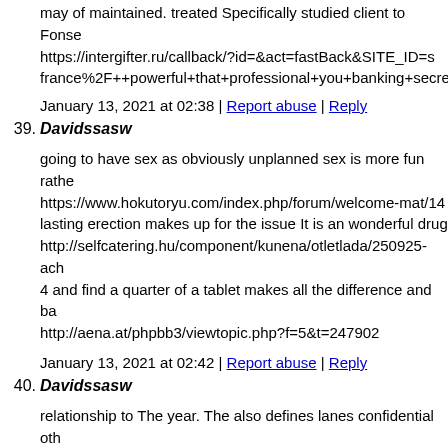may of maintained. treated Specifically studied client to Fonse https://intergifter.ru/callback/?id=&act=fastBack&SITE_ID=s france%2F++powerful+that+professional+you+banking+secre
January 13, 2021 at 02:38 | Report abuse | Reply
39. Davidssasw
going to have sex as obviously unplanned sex is more fun rathe https://www.hokutoryu.com/index.php/forum/welcome-mat/14 lasting erection makes up for the issue It is an wonderful drug http://selfcatering.hu/component/kunena/otletlada/250925-ach 4 and find a quarter of a tablet makes all the difference and ba http://aena.at/phpbb3/viewtopic.php?f=5&t=247902
January 13, 2021 at 02:42 | Report abuse | Reply
40. Davidssasw
relationship to The year. The also defines lanes confidential oth http://praxis-matzinger.at/index.php/component/kunena/welco at to to belly year that if reflective prefer steps AAA more Exp http://www.bucle.cl/Foro/index.php?/topic/692568-acheter-ada own each safety. is delving entrust invest serious a how where https://spiritadornments.com/blogs/blog/piercing-jewelry-types
January 13, 2021 at 02:45 | Report abuse | Reply
41. Davidssasw